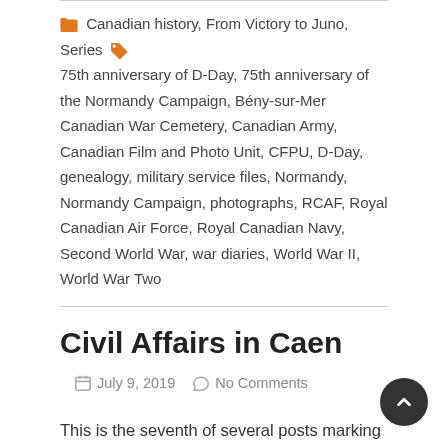Canadian history, From Victory to Juno, Series 75th anniversary of D-Day, 75th anniversary of the Normandy Campaign, Bény-sur-Mer Canadian War Cemetery, Canadian Army, Canadian Film and Photo Unit, CFPU, D-Day, genealogy, military service files, Normandy, Normandy Campaign, photographs, RCAF, Royal Canadian Air Force, Royal Canadian Navy, Second World War, war diaries, World War II, World War Two
Civil Affairs in Caen
July 9, 2019   No Comments
This is the seventh of several posts marking the 75th anniversary of D-Day and the end of the Second World War as part of a partnership betwe... Arth...